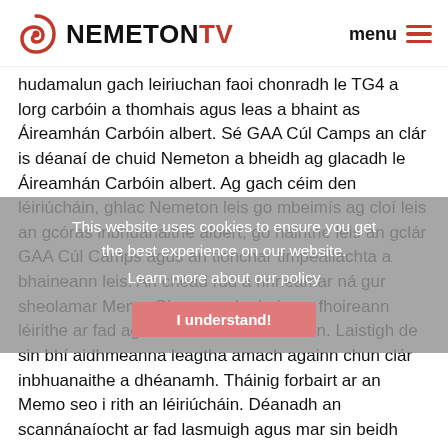NEMETON TV — menu
hudamalun gach leiriuchan faoi chonradh le TG4 a lorg carbóin a thomhais agus leas a bhaint as Áireamhán Carbóin albert. Sé GAA Cúl Camps an clár is déanaí de chuid Nemeton a bheidh ag glacadh le Áireamhán Carbóin albert. Ag gach céim den léiriúcháin, ghlac Nemeton leis go mbeimís ag cloí leis an gcóras inbhuanaithe albert, go háirithe leis an gclár GAA Cúl Camps agus an tionchar timpeallachta a bhaineann leis. An chéad rud a rinneamar ná gur sheolamar Memo Glas amach chuig an fhoireann léirithe ar fad ag tús an réamh-léiriúcháin. Laistigh de sin bhí aidhmeanna leagtha amach againn chun clár inbhuanaithe a dhéanamh. Tháinig forbairt ar an Memo seo i rith an léiriúcháin. Déanadh an scannánaíocht ar fad lasmuigh agus mar sin beidh spreagadh ag na páistí a fhéachann ar an gclár chun sugradh lasmuigh faoin aer go minic. Spreagamar
This website uses cookies to ensure you get the best experience on our website. Learn more about our policy
I understand!